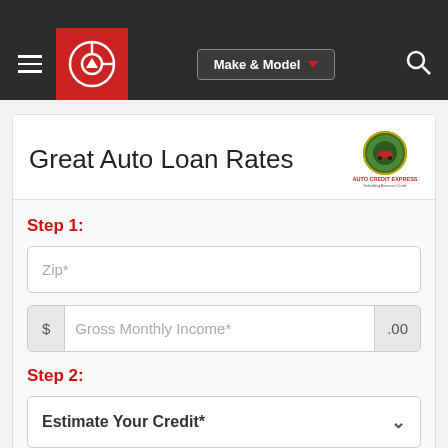[Figure (screenshot): Navigation bar with hamburger menu, red logo box with circular icon, Make & Model dropdown button, and search icon on dark background]
Great Auto Loan Rates
[Figure (logo): Auto Credit Express logo - circular green badge with red car icon and gold/red text 'AUTO CREDIT EXPRESS - Rebuilding America's Credit']
Step 1:
Zip*
$ Gross Monthly Income* .00
Step 2:
Estimate Your Credit*